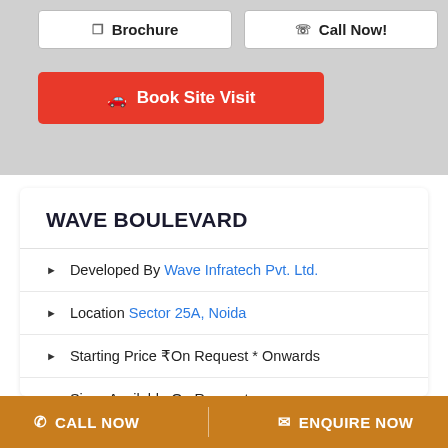[Figure (screenshot): Top grey section with Brochure and Call Now buttons, and red Book Site Visit button]
WAVE BOULEVARD
Developed By Wave Infratech Pvt. Ltd.
Location Sector 25A, Noida
Starting Price ₹On Request * Onwards
Sizes Available On Request
Possession New Booking / Under Construction
CALL NOW   ENQUIRE NOW